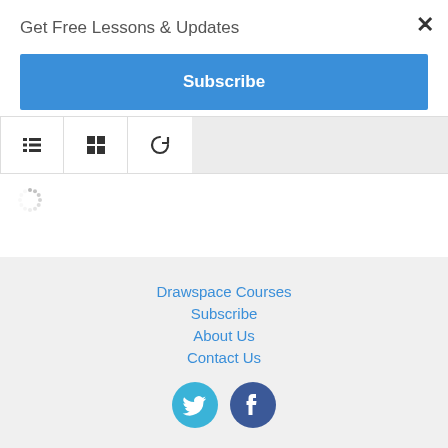Get Free Lessons & Updates
×
Subscribe
[Figure (screenshot): Toolbar with list view, grid view, and refresh icons]
[Figure (other): Loading spinner]
Drawspace Courses
Subscribe
About Us
Contact Us
[Figure (other): Twitter and Facebook social media icons]